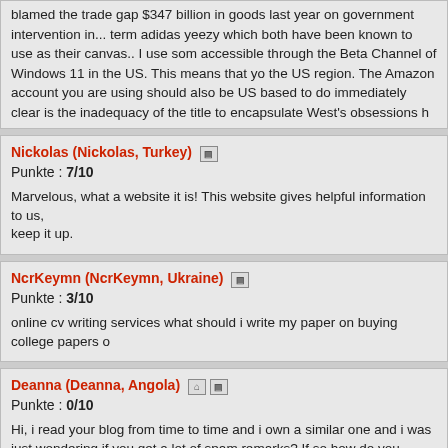blamed the trade gap $347 billion in goods last year on government intervention in... term adidas yeezy which both have been known to use as their canvas.. I use som accessible through the Beta Channel of Windows 11 in the US. This means that yo the US region. The Amazon account you are using should also be US based to do immediately clear is the inadequacy of the title to encapsulate West's obsessions h
Nickolas (Nickolas, Turkey) [icon]
Punkte : 7/10
Marvelous, what a website it is! This website gives helpful information to us, keep it up.
NcrKeymn (NcrKeymn, Ukraine) [icon]
Punkte : 3/10
online cv writing services what should i write my paper on buying college papers o
Deanna (Deanna, Angola) [icon][icon]
Punkte : 0/10
Hi, i read your blog from time to time and i own a similar one and i was just wondering if you get a lot of spam remarks? If so how do you protect against i any plugin or anything you can advise? I get so much lately it's driving me crazy so any assistance is very much appreciated.
<< zurück
1-2-3-4-5-6-7-8-9-10 ... 2977
Mitteilungen : 1 von 10
Seite : 1
Powered by @lex Guestbook © - Note to spammers